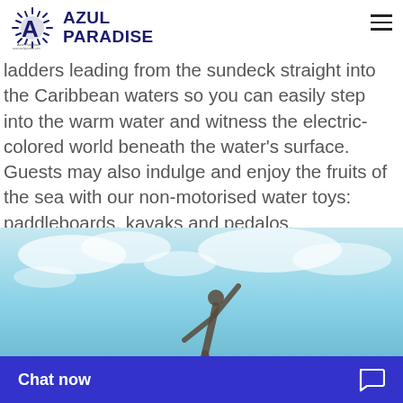AZUL PARADISE
ladders leading from the sundeck straight into the Caribbean waters so you can easily step into the warm water and witness the electric-colored world beneath the water's surface. Guests may also indulge and enjoy the fruits of the sea with our non-motorised water toys: paddleboards, kayaks and pedalos.
[Figure (photo): Person doing a yoga or stretching pose outdoors against a blue sky with clouds]
Chat now